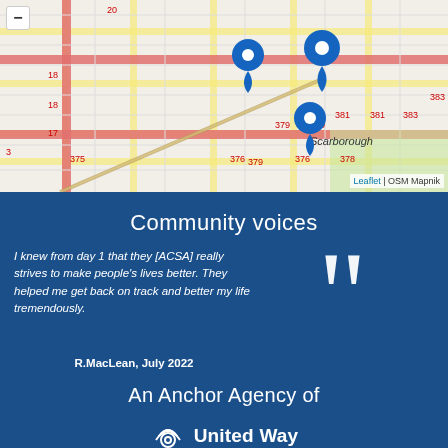[Figure (map): OpenStreetMap tile map of Scarborough area showing street grid with route numbers (375, 376, 378, 379, 380, 381, 383, 17, 18, 20) and three blue location pin markers. Map interface with minus zoom button. Attribution: Leaflet | OSM Mapnik]
Community voices
I knew from day 1 that they [ACSA] really strives to make people's lives better. They helped me get back on track and better my life tremendously.
R.MacLean, July 2022
An Anchor Agency of
[Figure (logo): United Way logo with arc/rainbow symbol and text 'United Way']